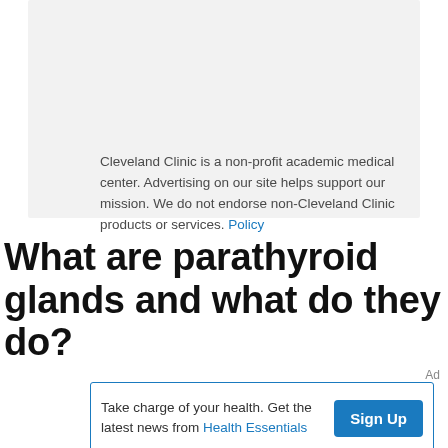Cleveland Clinic is a non-profit academic medical center. Advertising on our site helps support our mission. We do not endorse non-Cleveland Clinic products or services. Policy
What are parathyroid glands and what do they do?
Ad
Take charge of your health. Get the latest news from Health Essentials Sign Up